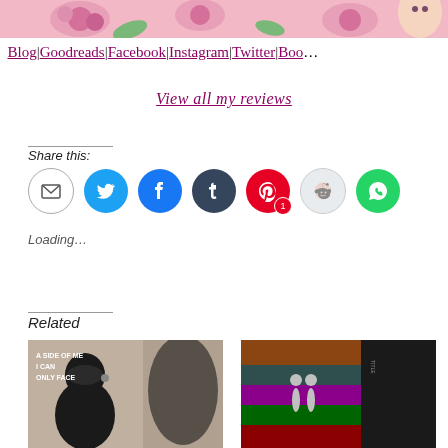[Figure (photo): Top cropped photo strip showing pink roses and a doll or figurine with pink background]
Blog|Goodreads|Facebook|Instagram|Twitter|Boo…
View all my reviews
Share this:
[Figure (infographic): Row of social share buttons: email, Twitter, Facebook, Tumblr, Pinterest (with badge '1'), Reddit, WhatsApp]
Loading…
Related
[Figure (photo): Book cover: 'A Side of Me I Can Only Face' — black and white photo of a masked woman]
[Figure (photo): Book cover: dark image with earrings and spine text]